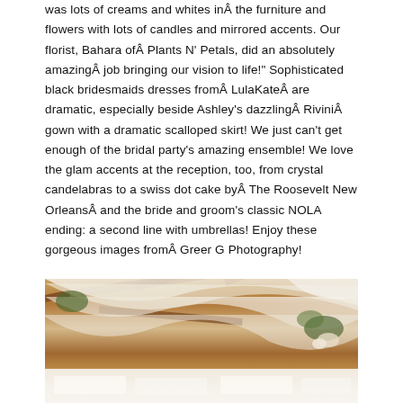was lots of creams and whites inÂ the furniture and flowers with lots of candles and mirrored accents. Our florist, Bahara ofÂ Plants N' Petals, did an absolutely amazingÂ job bringing our vision to life!" Sophisticated black bridesmaids dresses fromÂ LulaKateÂ are dramatic, especially beside Ashley's dazzlingÂ RiviniÂ gown with a dramatic scalloped skirt! We just can't get enough of the bridal party's amazing ensemble! We love the glam accents at the reception, too, from crystal candelabras to a swiss dot cake byÂ The Roosevelt New OrleansÂ and the bride and groom's classic NOLA ending: a second line with umbrellas! Enjoy these gorgeous images fromÂ Greer G Photography!
SEE IT
[Figure (photo): Wedding reception venue interior showing white fabric draping hanging from wooden beam ceiling structure, with floral arrangements and warm lighting visible below]